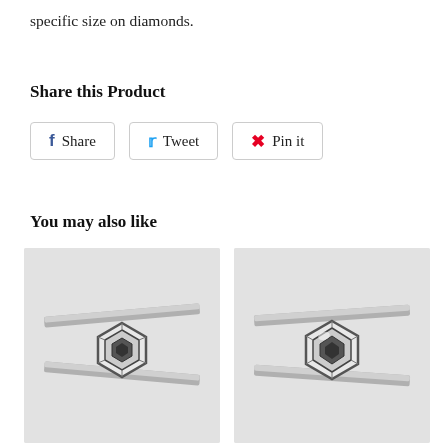specific size on diamonds.
Share this Product
Share  Tweet  Pin it
You may also like
[Figure (photo): Hexagonal salt and pepper diamond held by tweezers, close-up view]
[Figure (photo): Hexagonal salt and pepper diamond held by tweezers, slightly larger view]